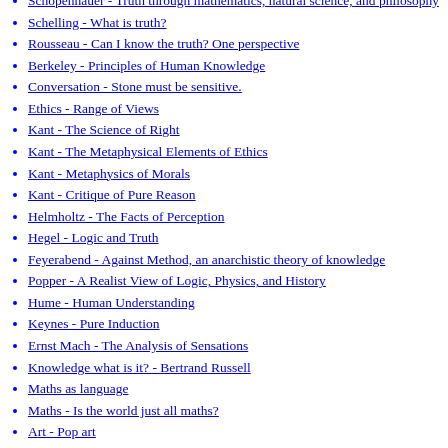Schopenhauer - Truth through mathematics, natural science, and philosophy
Schelling - What is truth?
Rousseau - Can I know the truth? One perspective
Berkeley - Principles of Human Knowledge
Conversation - Stone must be sensitive.
Ethics - Range of Views
Kant - The Science of Right
Kant - The Metaphysical Elements of Ethics
Kant - Metaphysics of Morals
Kant - Critique of Pure Reason
Helmholtz - The Facts of Perception
Hegel - Logic and Truth
Feyerabend - Against Method, an anarchistic theory of knowledge
Popper - A Realist View of Logic, Physics, and History
Hume - Human Understanding
Keynes - Pure Induction
Ernst Mach - The Analysis of Sensations
Knowledge what is it? - Bertrand Russell
Maths as language
Maths - Is the world just all maths?
Art - Pop art
Art - Dictionary
Art - Picasso